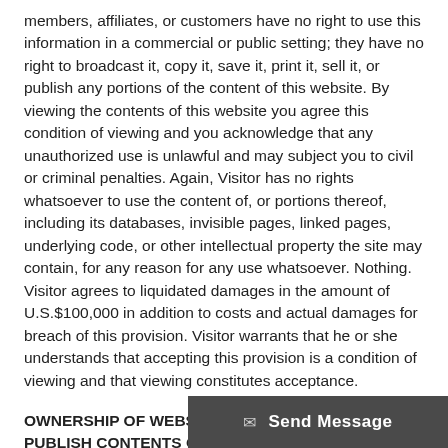members, affiliates, or customers have no right to use this information in a commercial or public setting; they have no right to broadcast it, copy it, save it, print it, sell it, or publish any portions of the content of this website. By viewing the contents of this website you agree this condition of viewing and you acknowledge that any unauthorized use is unlawful and may subject you to civil or criminal penalties. Again, Visitor has no rights whatsoever to use the content of, or portions thereof, including its databases, invisible pages, linked pages, underlying code, or other intellectual property the site may contain, for any reason for any use whatsoever. Nothing. Visitor agrees to liquidated damages in the amount of U.S.$100,000 in addition to costs and actual damages for breach of this provision. Visitor warrants that he or she understands that accepting this provision is a condition of viewing and that viewing constitutes acceptance.
OWNERSHIP OF WEBSITE OR RIGHT TO USE, SELL, PUBLISH CONTENTS OF THIS WEBSITE
The website and its contents ar